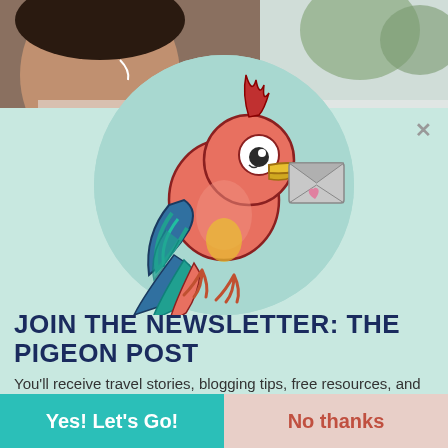[Figure (illustration): A cartoon parrot holding an envelope in its beak, flying, with colorful feathers (red, coral, blue, teal, yellow), set on a mint green circular background. The envelope has a small pink heart on it.]
JOIN THE NEWSLETTER: THE PIGEON POST
You'll receive travel stories, blogging tips, free resources, and Rocky's new posts!
Yes! Let's Go!
No thanks